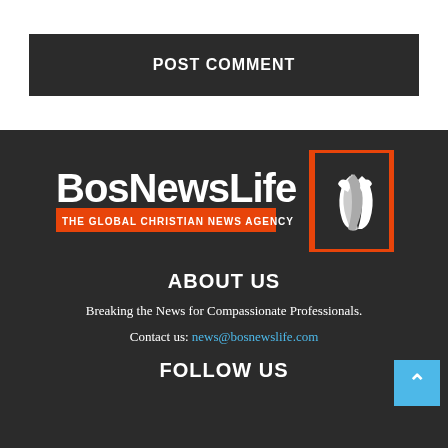POST COMMENT
[Figure (logo): BosNewsLife logo with text 'THE GLOBAL CHRISTIAN NEWS AGENCY' on orange bar, and praying hands in orange-bordered box on dark background]
ABOUT US
Breaking the News for Compassionate Professionals.
Contact us: news@bosnewslife.com
FOLLOW US